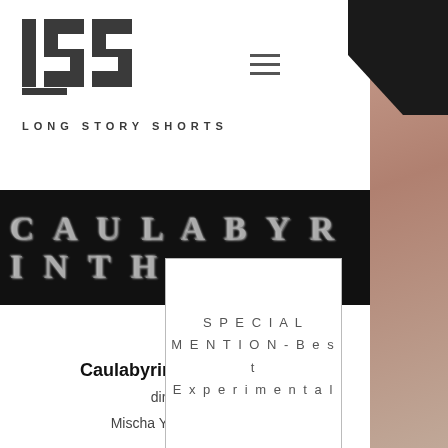[Figure (logo): LSS Long Story Shorts logo with stylized letters and text]
[Figure (screenshot): Black banner with glittery/textured CAULABYRINTH title text]
[Figure (other): White award card with border showing SPECIAL MENTION - Best Experimental]
SPECIAL MENTION - Best Experimental
Caulabyrinth Episode 13
directed by
Mischa Ying Giancovich